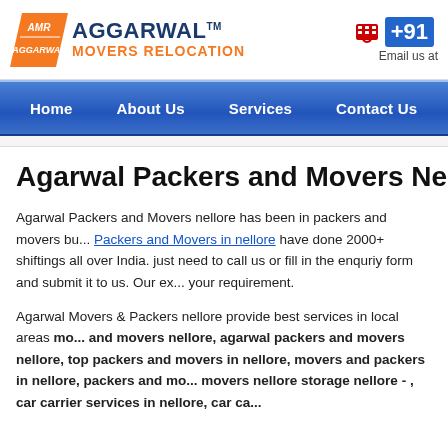[Figure (logo): Aggarwal Movers Relocation logo with orange parallelogram badge containing AMR text and blue AGGARWAL text with orange MOVERS RELOCATION subtitle]
+91 | Email us at
Home | About Us | Services | Contact Us | Sitem...
Agarwal Packers and Movers Nellore
Agarwal Packers and Movers nellore has been in packers and movers bu... Packers and Movers in nellore have done 2000+ shiftings all over India. just need to call us or fill in the enquriy form and submit it to us. Our ex... your requirement.
Agarwal Movers & Packers nellore provide best services in local areas mo... and movers nellore, agarwal packers and movers nellore, top packers and movers in nellore, movers and packers in nellore, packers and mo... movers nellore storage nellore - , car carrier services in nellore, car ca...